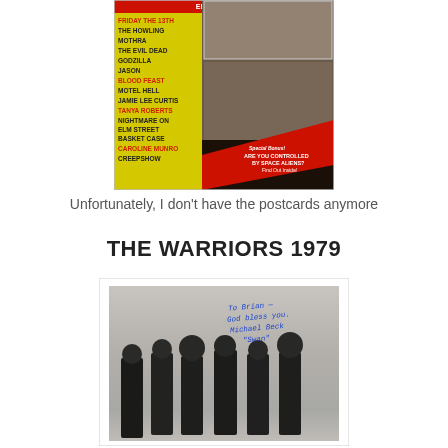[Figure (photo): Horror magazine cover showing movie titles including Friday the 13th, The Howling, Mothra, The Evil Dead, Godzilla, Jason, Blood Feast, Motel Hell, Jamie Lee Curtis, Tanya Roberts, Nightmare on Elm Street, Basket Case, Caroline Munro, Creepshow. Special Bonus: Are You Controlled By Space Aliens? Find Out Inside!]
Unfortunately, I don't have the postcards anymore
THE WARRIORS 1979
[Figure (photo): Black and white photograph of cast members from The Warriors 1979 film, showing multiple people walking together. Autograph inscription reads: To Brian — God bless you. Michael Beck 'Swan']